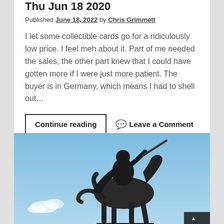Thu Jun 18 2020
Published June 18, 2022 by Chris Grimmett
I let some collectible cards go for a ridiculously low price. I feel meh about it. Part of me needed the sales, the other part knew that I could have gotten more if I were just more patient. The buyer is in Germany, which means I had to shell out…
Continue reading   💬 Leave a Comment
[Figure (photo): Equestrian statue of a figure on horseback against a blue sky with a small cloud visible, bronze-colored statue photographed from below.]